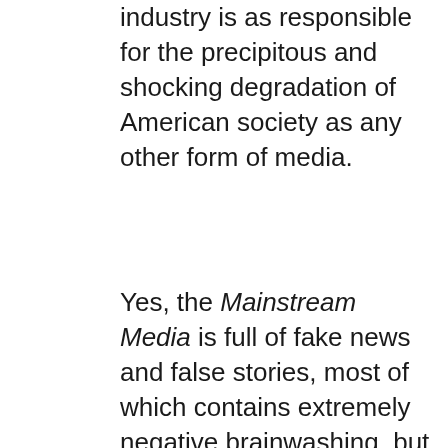industry is as responsible for the precipitous and shocking degradation of American society as any other form of media.
Yes, the Mainstream Media is full of fake news and false stories, most of which contains extremely negative brainwashing, but movies and TV programming really serve to destroy American culture like nothing else. Much more importantly, the profusion of degenerate programs and movies have exposed our impressionable children to levels of depravity never experienced in human history.